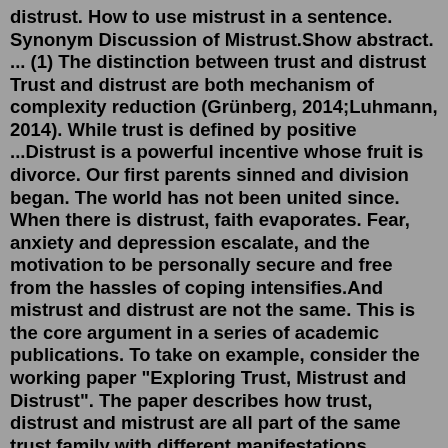distrust. How to use mistrust in a sentence. Synonym Discussion of Mistrust.Show abstract. ... (1) The distinction between trust and distrust Trust and distrust are both mechanism of complexity reduction (Grünberg, 2014;Luhmann, 2014). While trust is defined by positive ...Distrust is a powerful incentive whose fruit is divorce. Our first parents sinned and division began. The world has not been united since. When there is distrust, faith evaporates. Fear, anxiety and depression escalate, and the motivation to be personally secure and free from the hassles of coping intensifies.And mistrust and distrust are not the same. This is the core argument in a series of academic publications. To take on example, consider the working paper "Exploring Trust, Mistrust and Distrust". The paper describes how trust, distrust and mistrust are all part of the same trust family with different manifestations, evaluative triggers ...Distrust, anxiety, and anomie are at the root of the 73 percent increase in depression among Americans aged 18 to 25 from 2007 to 2018, and of the shocking